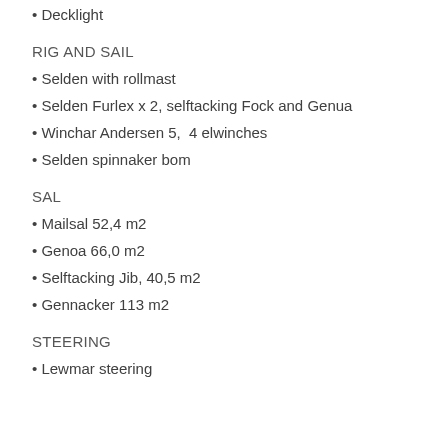Decklight
RIG AND SAIL
Selden with rollmast
Selden Furlex x 2, selftacking Fock and Genua
Winchar Andersen 5,  4 elwinches
Selden spinnaker bom
SAL
Mailsal 52,4 m2
Genoa 66,0 m2
Selftacking Jib, 40,5 m2
Gennacker 113 m2
STEERING
Lewmar steering